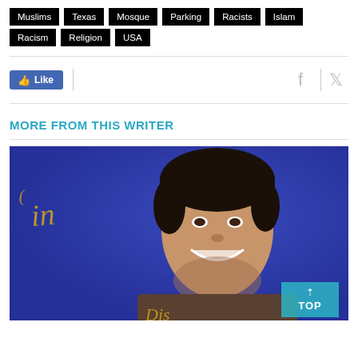Muslims
Texas
Mosque
Parking
Racists
Islam
Racism
Religion
USA
[Figure (screenshot): Social sharing bar with Facebook Like button and Facebook/Twitter icons]
MORE FROM THIS WRITER
[Figure (photo): A smiling young man at what appears to be a Subway-sponsored Aladdin movie premiere event. Blue background with Subway Fresh Fit branding visible. A TOP button appears in the lower right corner.]